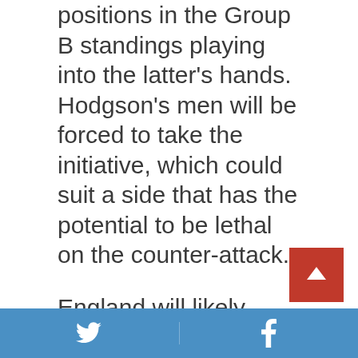positions in the Group B standings playing into the latter's hands. Hodgson's men will be forced to take the initiative, which could suit a side that has the potential to be lethal on the counter-attack.
England will likely dominate possession and should be able to create chances, but a score draw still looks to be the best bet for this game. Wales will be disciplined and well organised out of possession and have enough quality to cause problems for England at the other end of the pitch, which could result in both nations taking a point each. So these are this match preview's betting tips:
Twitter | Facebook